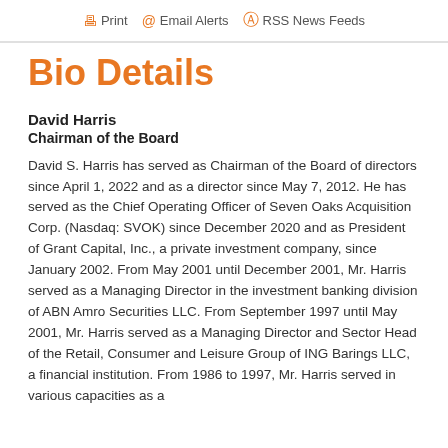🖨 Print  @  Email Alerts  ᯤ  RSS News Feeds
Bio Details
David Harris
Chairman of the Board
David S. Harris has served as Chairman of the Board of directors since April 1, 2022 and as a director since May 7, 2012. He has served as the Chief Operating Officer of Seven Oaks Acquisition Corp. (Nasdaq: SVOK) since December 2020 and as President of Grant Capital, Inc., a private investment company, since January 2002. From May 2001 until December 2001, Mr. Harris served as a Managing Director in the investment banking division of ABN Amro Securities LLC. From September 1997 until May 2001, Mr. Harris served as a Managing Director and Sector Head of the Retail, Consumer and Leisure Group of ING Barings LLC, a financial institution. From 1986 to 1997, Mr. Harris served in various capacities as a